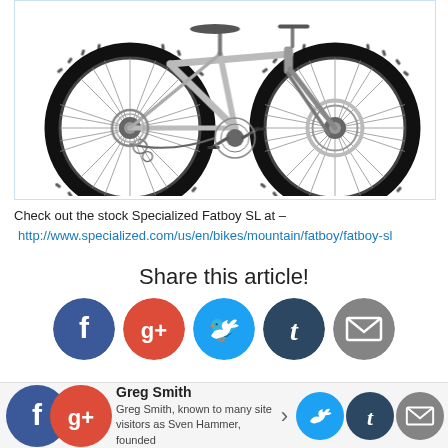[Figure (photo): Silver Specialized Fatboy SL fat tire mountain bike on white background, shown in profile with large knobby tires, front fork, disc brakes, and drivetrain visible.]
Check out the stock Specialized Fatboy SL at –
http://www.specialized.com/us/en/bikes/mountain/fatboy/fatboy-sl
Share this article!
[Figure (infographic): Row of five social media share buttons: Facebook (blue), Google+ (red), Twitter (light blue), Tumblr (dark blue), Email (grey)]
[Figure (infographic): Author card with overlapping Facebook and Google+ icons, author name 'Greg Smith', and biography text: 'Greg Smith, known to many site visitors as Sven Hammer, founded [Ratbike.com] in [2004] and has been writing about bikes ever since...']